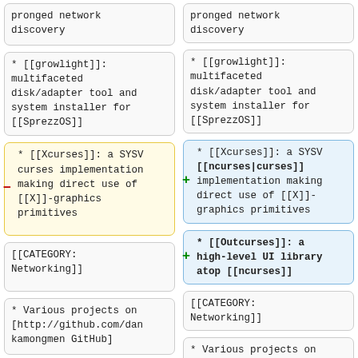pronged network discovery
pronged network discovery
* [[growlight]]: multifaceted disk/adapter tool and system installer for [[SprezzOS]]
* [[growlight]]: multifaceted disk/adapter tool and system installer for [[SprezzOS]]
* [[Xcurses]]: a SYSV curses implementation making direct use of [[X]]-graphics primitives (removed)
* [[Xcurses]]: a SYSV [[ncurses|curses]] implementation making direct use of [[X]]-graphics primitives (added)
* [[Outcurses]]: a high-level UI library atop [[ncurses]] (added)
[[CATEGORY: Networking]]
[[CATEGORY: Networking]]
* Various projects on [http://github.com/dankamongmen GitHub]
* Various projects on [http://github.com/dankamongmen GitHub]